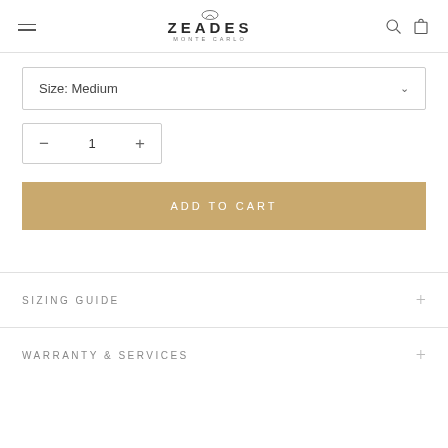ZEADES MONTE CARLO
Size: Medium
− 1 +
ADD TO CART
SIZING GUIDE
WARRANTY & SERVICES